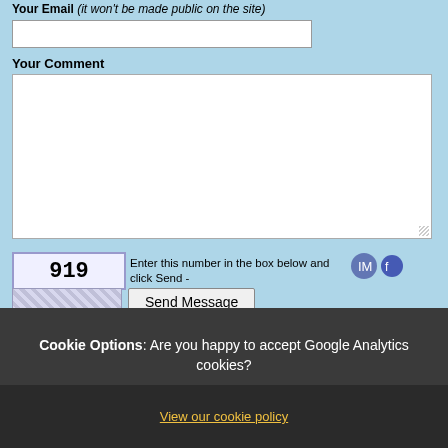Your Email (it won't be made public on the site)
Your Comment
919 - Enter this number in the box below and click Send -
Send Message
+ Share |
Cookie Options: Are you happy to accept Google Analytics cookies?
Yes
No
Calico UK | 40 Bayview Cresc...
View our cookie policy